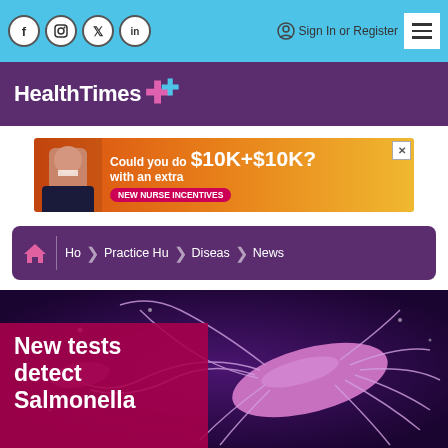[Figure (screenshot): HealthTimes website screenshot showing top navigation bar with social media icons (Facebook, Instagram, Twitter, LinkedIn), Sign In or Register link, hamburger menu, purple header with HealthTimes logo and pink cross icon, advertisement banner for New Nurse Incentives ($10K+$10K), breadcrumb navigation (Home > Practice Hub > Diseases > News), and article hero image of Salmonella bacteria with title 'New tests detect Salmonella']